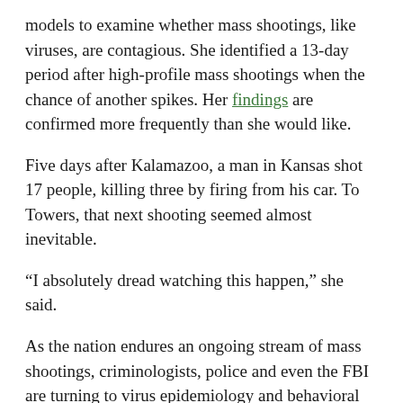models to examine whether mass shootings, like viruses, are contagious. She identified a 13-day period after high-profile mass shootings when the chance of another spikes. Her findings are confirmed more frequently than she would like.
Five days after Kalamazoo, a man in Kansas shot 17 people, killing three by firing from his car. To Towers, that next shooting seemed almost inevitable.
“I absolutely dread watching this happen,” she said.
As the nation endures an ongoing stream of mass shootings, criminologists, police and even the FBI are turning to virus epidemiology and behavioral psychology to understand what sets off mass shooters and figure out whether, as with the flu, the spread can be interrupted.
“These things are clustering in time, and one is causing the